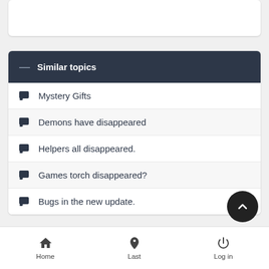— Similar topics
Mystery Gifts
Demons have disappeared
Helpers all disappeared.
Games torch disappeared?
Bugs in the new update.
Home   Last   Log in